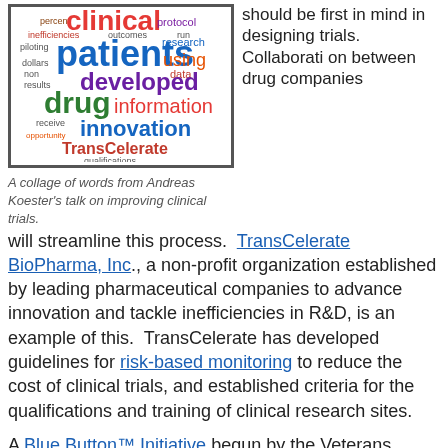[Figure (other): A word cloud featuring clinical trial related terms such as 'clinical', 'patients', 'developed', 'drug', 'information', 'innovation', 'TransCelerate', 'protocol', 'research', 'using', 'data', 'qualifications', 'opportunity', 'receive', 'results', 'non', 'dollars', 'piloting', 'inefficiencies', 'percent', 'outcomes', 'run', in various colors and sizes.]
A collage of words from Andreas Koester's talk on improving clinical trials.
should be first in mind in designing trials. Collaboration between drug companies will streamline this process.  TransCelerate BioPharma, Inc., a non-profit organization established by leading pharmaceutical companies to advance innovation and tackle inefficiencies in R&D, is an example of this.  TransCelerate has developed guidelines for risk-based monitoring to reduce the cost of clinical trials, and established criteria for the qualifications and training of clinical research sites.
A Blue Button™ Initiative begun by the Veterans Administration to allow patients the opportunity to access